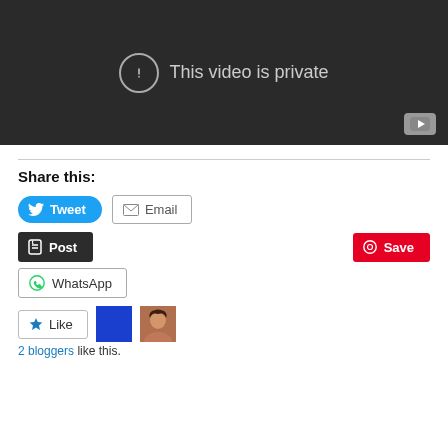[Figure (screenshot): Dark video player area showing 'This video is private' message with an exclamation icon and YouTube button in bottom right]
Share this:
Tweet | Email | Post | Save | WhatsApp
2 bloggers like this.